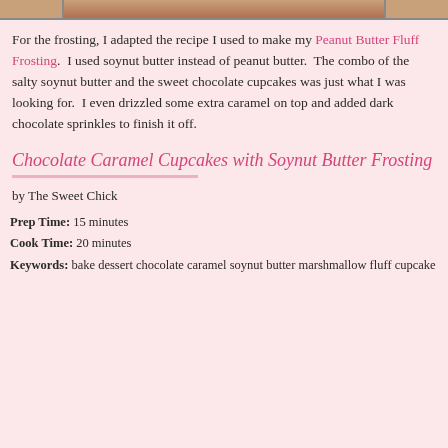[Figure (photo): Partial image of chocolate caramel cupcakes at the top of the page]
For the frosting, I adapted the recipe I used to make my Peanut Butter Fluff Frosting.  I used soynut butter instead of peanut butter.  The combo of the salty soynut butter and the sweet chocolate cupcakes was just what I was looking for.  I even drizzled some extra caramel on top and added dark chocolate sprinkles to finish it off.
Chocolate Caramel Cupcakes with Soynut Butter Frosting
by The Sweet Chick
Prep Time: 15 minutes
Cook Time: 20 minutes
Keywords: bake dessert chocolate caramel soynut butter marshmallow fluff cupcake